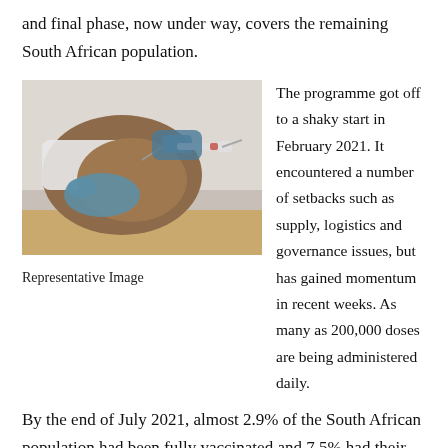and final phase, now under way, covers the remaining South African population.
[Figure (photo): A healthcare worker administering a vaccine injection into a patient's arm, with gloved hands visible.]
Representative Image
The programme got off to a shaky start in February 2021. It encountered a number of setbacks such as supply, logistics and governance issues, but has gained momentum in recent weeks. As many as 200,000 doses are being administered daily.
By the end of July 2021, almost 2.9% of the South African population had been fully vaccinated and 7.5% had their first of the two Pfizer doses.
Despite this uptake, many South Africans are still hesitant to take the vaccine. The circulation of misinformation about it poses the danger of hampering efforts to control the pandemic.